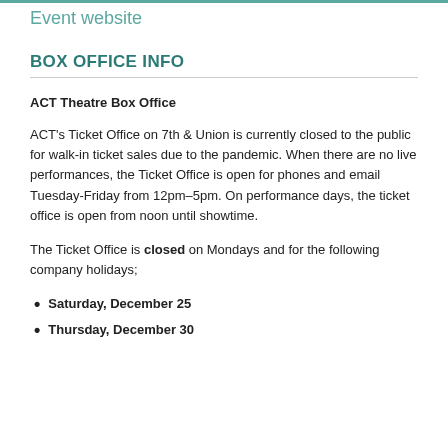Event website
BOX OFFICE INFO
ACT Theatre Box Office
ACT's Ticket Office on 7th & Union is currently closed to the public for walk-in ticket sales due to the pandemic. When there are no live performances, the Ticket Office is open for phones and email Tuesday-Friday from 12pm–5pm. On performance days, the ticket office is open from noon until showtime.
The Ticket Office is closed on Mondays and for the following company holidays;
Saturday, December 25
Thursday, December 30